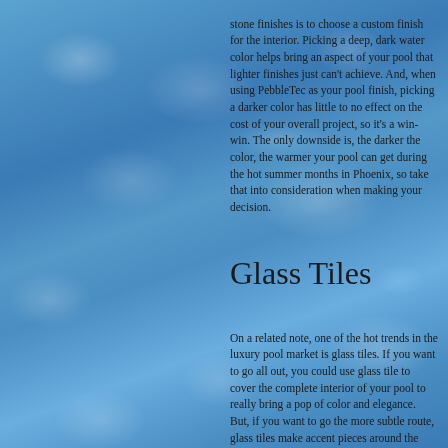[Figure (photo): Blue swimming pool water background with light reflections and ripple patterns]
stone finishes is to choose a custom finish for the interior. Picking a deep, dark water color helps bring an aspect of your pool that lighter finishes just can't achieve. And, when using PebbleTec as your pool finish, picking a darker color has little to no effect on the cost of your overall project, so it's a win-win. The only downside is, the darker the color, the warmer your pool can get during the hot summer months in Phoenix, so take that into consideration when making your decision.
Glass Tiles
On a related note, one of the hot trends in the luxury pool market is glass tiles. If you want to go all out, you could use glass tile to cover the complete interior of your pool to really bring a pop of color and elegance. But, if you want to go the more subtle route, glass tiles make accent pieces around the water line, water features, or infinity edges.